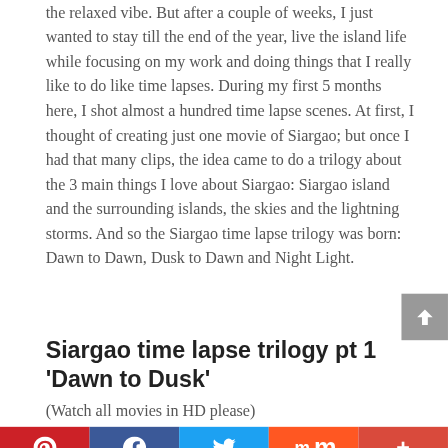the relaxed vibe. But after a couple of weeks, I just wanted to stay till the end of the year, live the island life while focusing on my work and doing things that I really like to do like time lapses. During my first 5 months here, I shot almost a hundred time lapse scenes. At first, I thought of creating just one movie of Siargao; but once I had that many clips, the idea came to do a trilogy about the 3 main things I love about Siargao: Siargao island and the surrounding islands, the skies and the lightning storms. And so the Siargao time lapse trilogy was born: Dawn to Dawn, Dusk to Dawn and Night Light.
Siargao time lapse trilogy pt 1 'Dawn to Dusk'
(Watch all movies in HD please)
[Figure (infographic): Social media share bar with Pinterest (red), Facebook (dark blue), Twitter (light blue), Mix (orange-red), and More (+) buttons]